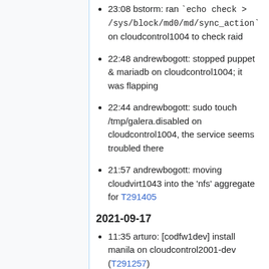23:08 bstorm: ran `echo check > /sys/block/md0/md/sync_action` on cloudcontrol1004 to check raid
22:48 andrewbogott: stopped puppet & mariadb on cloudcontrol1004; it was flapping
22:44 andrewbogott: sudo touch /tmp/galera.disabled on cloudcontrol1004, the service seems troubled there
21:57 andrewbogott: moving cloudvirt1043 into the 'nfs' aggregate for T291405
2021-09-17
11:35 arturo: [codfw1dev] install manila on cloudcontrol2001-dev (T291257)
2021-09-16